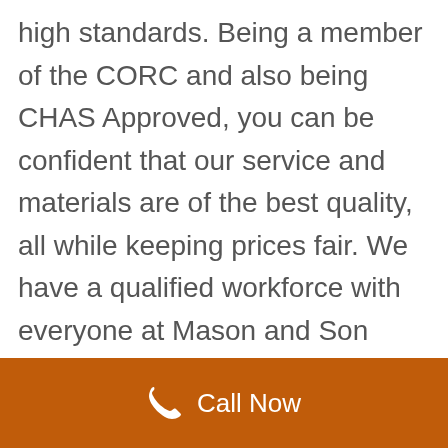high standards. Being a member of the CORC and also being CHAS Approved, you can be confident that our service and materials are of the best quality, all while keeping prices fair. We have a qualified workforce with everyone at Mason and Son Roofing carrying a Construction Skills Certification Scheme (CSCS) card to demonstrate their ability. We can also offer a fully insurance backed 15 Year Guarantee on every re-roof for added peace of mind.
Call Now